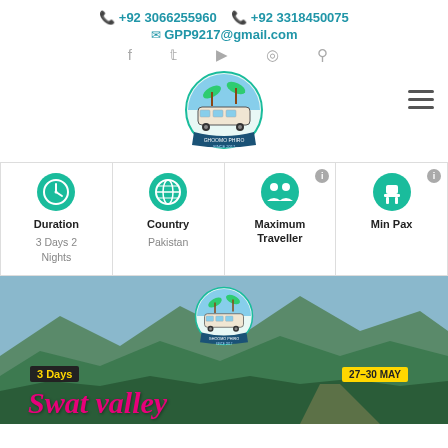+92 3066255960  +92 3318450075
GPP9217@gmail.com
[Figure (logo): Ghoomo Phiro travel agency circular logo with bus and palm trees]
| Duration | Country | Maximum Traveller | Min Pax |
| --- | --- | --- | --- |
| 3 Days 2 Nights | Pakistan |  |  |
[Figure (photo): Mountain valley landscape with forested hills and blue sky, Swat Valley promotional banner showing '3 Days', '27-30 MAY', and 'Swat valley' text with Ghoomo Phiro logo]